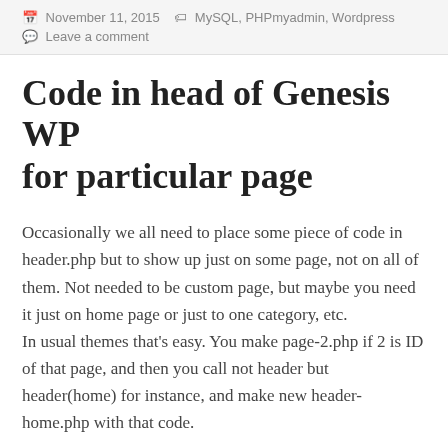November 11, 2015  MySQL, PHPmyadmin, Wordpress
Leave a comment
Code in head of Genesis WP for particular page
Occasionally we all need to place some piece of code in header.php but to show up just on some page, not on all of them. Not needed to be custom page, but maybe you need it just on home page or just to one category, etc.
In usual themes that's easy. You make page-2.php if 2 is ID of that page, and then you call not header but header(home) for instance, and make new header-home.php with that code.
But if you are using Genesis theme, this can be